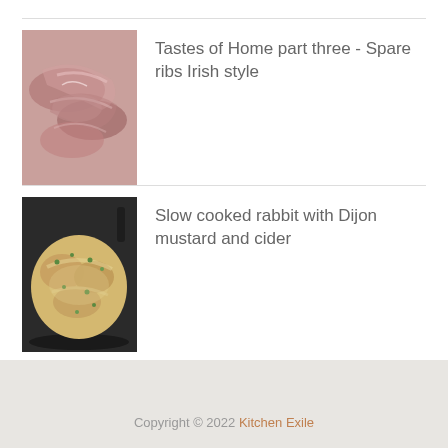[Figure (photo): Raw spare ribs of meat, piled together, reddish-pink in color]
Tastes of Home part three - Spare ribs Irish style
[Figure (photo): Slow cooked rabbit dish in a dark cast iron pan with mustard cream sauce and green herbs]
Slow cooked rabbit with Dijon mustard and cider
About me, about the site and contact details
Copyright © 2022 Kitchen Exile